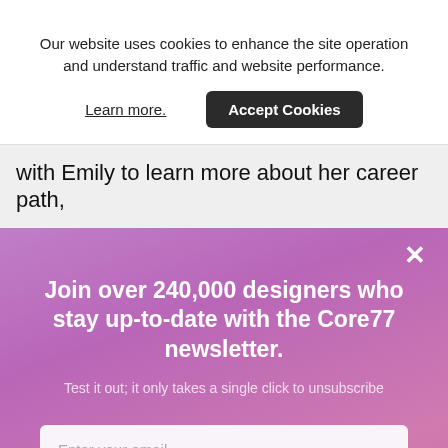Our website uses cookies to enhance the site operation and understand traffic and website performance.
Learn more.
Accept Cookies
with Emily to learn more about her career path,
×
Join over 240,000 designers who stay up-to-date with the Core77 newsletter.
Test it out; it only takes a single click to unsubscribe
Enter your email
Subscribe